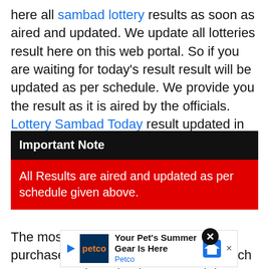here all sambad lottery results as soon as aired and updated. We update all lotteries result here on this web portal. So if you are waiting for today's result result will be updated as per schedule. We provide you the result as it is aired by the officials. Lottery Sambad Today result updated in PDF soon after balloting.
Important Note
All Results are aired and updated as per schedule given above.
The most importantly if you have purchased the todays lottery ticket March 28.3.2022. Then check your result here on this page. We will update your result as soon as it is aired by the officials. We will also update you the m... result daily. As you know official sites...
[Figure (other): Advertisement banner for Petco - Your Pet's Summer Gear Is Here, with Petco logo and navigation icon]